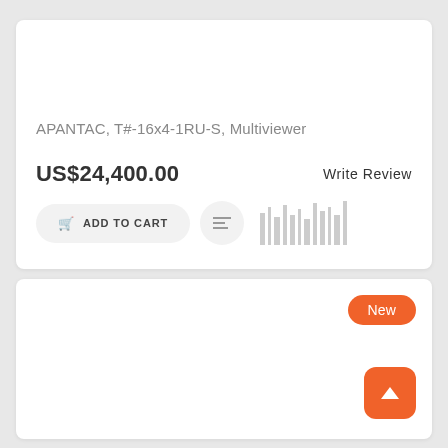APANTAC, T#-16x4-1RU-S, Multiviewer
US$24,400.00
Write Review
ADD TO CART
[Figure (other): Barcode/bar graph placeholder graphic in gray]
[Figure (other): Second product card with New badge and scroll-to-top orange button]